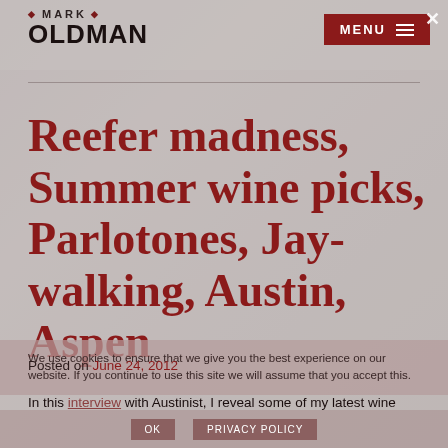[Figure (logo): Mark Oldman logo with diamond decorations and bold text]
[Figure (screenshot): Menu button with hamburger icon and X close button on dark red background]
Reefer madness, Summer wine picks, Parlotones, Jay-walking, Austin, Aspen
Posted on June 24, 2012
In this interview with Austinist, I reveal some of my latest wine
We use cookies to ensure that we give you the best experience on our website. If you continue to use this site we will assume that you accept this.